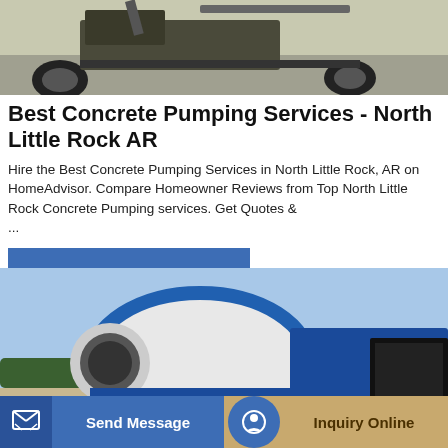[Figure (photo): Construction vehicle / concrete pump truck on a road, dark tones, top portion of page]
Best Concrete Pumping Services - North Little Rock AR
Hire the Best Concrete Pumping Services in North Little Rock, AR on HomeAdvisor. Compare Homeowner Reviews from Top North Little Rock Concrete Pumping services. Get Quotes & ...
[Figure (other): GET A QUOTE button - blue rectangle]
[Figure (photo): Blue and white concrete mixer truck photographed outdoors against a blue sky with trees in the background]
[Figure (other): Bottom action bar with Send Message button (blue) and Inquiry Online button (tan/gold)]